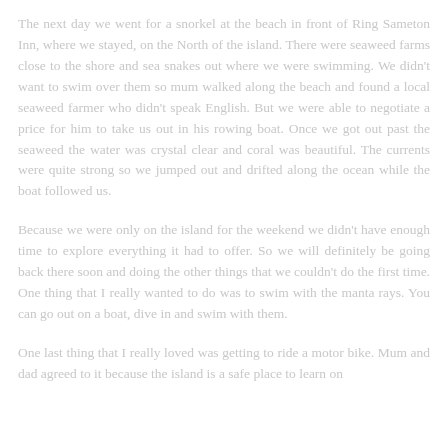The next day we went for a snorkel at the beach in front of Ring Sameton Inn, where we stayed, on the North of the island. There were seaweed farms close to the shore and sea snakes out where we were swimming. We didn't want to swim over them so mum walked along the beach and found a local seaweed farmer who didn't speak English. But we were able to negotiate a price for him to take us out in his rowing boat. Once we got out past the seaweed the water was crystal clear and coral was beautiful. The currents were quite strong so we jumped out and drifted along the ocean while the boat followed us.
Because we were only on the island for the weekend we didn't have enough time to explore everything it had to offer. So we will definitely be going back there soon and doing the other things that we couldn't do the first time. One thing that I really wanted to do was to swim with the manta rays. You can go out on a boat, dive in and swim with them.
One last thing that I really loved was getting to ride a motor bike. Mum and dad agreed to it because the island is a safe place to learn on